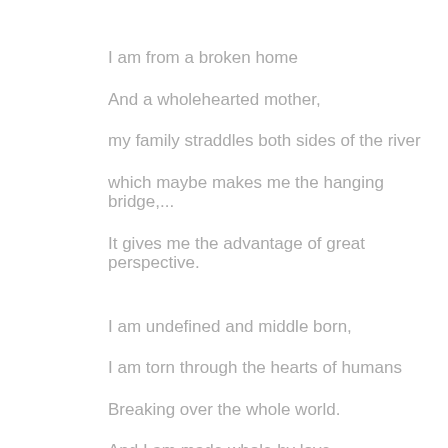I am from a broken home

And a wholehearted mother,

my family straddles both sides of the river

which maybe makes me the hanging bridge,...

It gives me the advantage of great perspective.


I am undefined and middle born,

I am torn through the hearts of humans

Breaking over the whole world.

And I am made whole by love